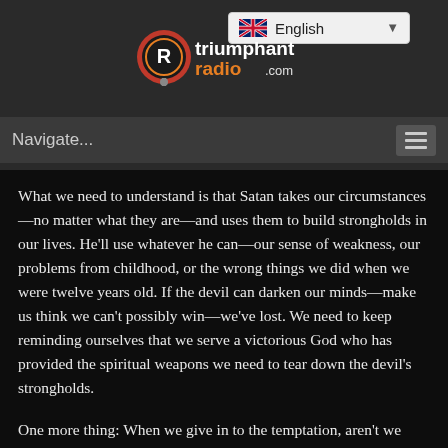[Figure (screenshot): Language selector dropdown showing UK flag and 'English' text with dropdown arrow]
[Figure (logo): Triumphant Radio .com logo with circular R icon in red and orange]
Navigate...
What we need to understand is that Satan takes our circumstances—no matter what they are—and uses them to build strongholds in our lives. He'll use whatever he can—our sense of weakness, our problems from childhood, or the wrong things we did when we were twelve years old. If the devil can darken our minds—make us think we can't possibly win—we've lost. We need to keep reminding ourselves that we serve a victorious God who has provided the spiritual weapons we need to tear down the devil's strongholds.
One more thing: When we give in to the temptation, aren't we subtly saying that God is